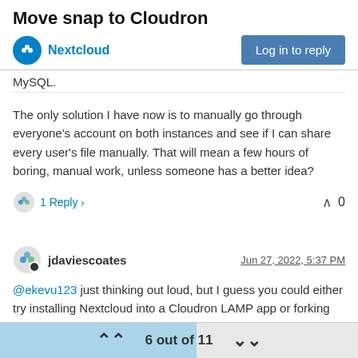Move snap to Cloudron
MySQL.
The only solution I have now is to manually go through everyone's account on both instances and see if I can share every user's file manually. That will mean a few hours of boring, manual work, unless someone has a better idea?
1 Reply >   ^ 0
jdaviescoates   Jun 27, 2022, 5:37 PM
@ekevu123 just thinking out loud, but I guess you could either try installing Nextcloud into a Cloudron LAMP app or forking the existing Cloudron Nextcloud app to create a custom Cloudron Nextcloud app that uses MySQL instead.
6 out of 11